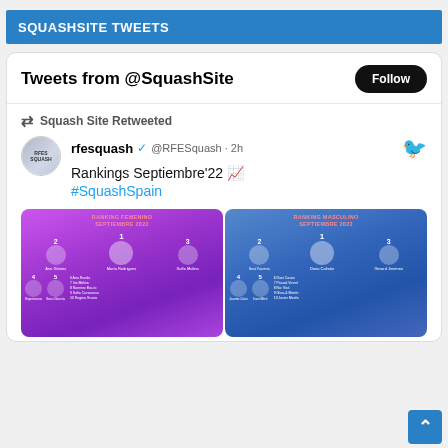SQUASHSITE TWEETS
Tweets from @SquashSite
Squash Site Retweeted
rfesquash @RFESquash · 2h
Rankings Septiembre'22 📈
#SquashSpain
[Figure (photo): Two images side by side showing Spain squash rankings for September 2022 - left image shows female rankings (Ranking Femenino Septiembre 2022) and right image shows male rankings (Ranking Masculino Septiembre 2022), both with purple/blue gradient backgrounds and player photos]